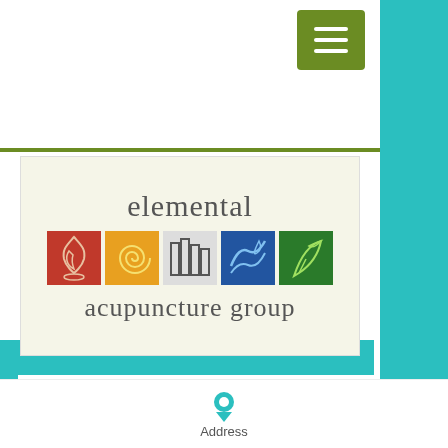[Figure (logo): Elemental Acupuncture Group logo with five colored element icons (fire, earth, metal, water, wood) and text 'elemental acupuncture group']
2014 Summer
Chinese medicine is born out of the Taoist belief that the human body is a microcosm of the natural world, evolving and changing with the weather and seasons; to live counter to this belief is to live out of harmony with the natural world. According to Chinese medicine...
Address